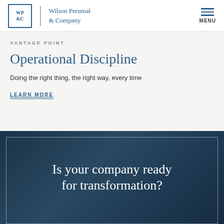Wilson Perumal & Company | MENU
VANTAGE POINT
Operational Discipline
Doing the right thing, the right way, every time
LEARN MORE
Is your company ready for transformation?